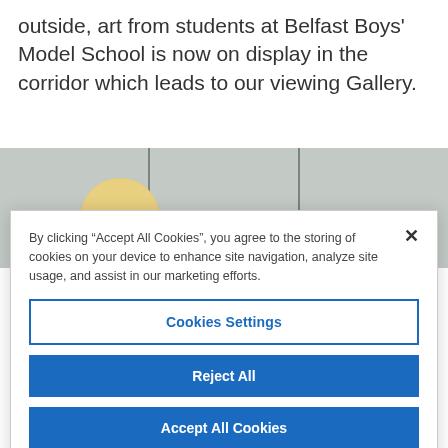outside, art from students at Belfast Boys' Model School is now on display in the corridor which leads to our viewing Gallery.
[Figure (photo): A person with blonde hair partially visible below framed wall panels in a corridor or gallery space.]
By clicking “Accept All Cookies”, you agree to the storing of cookies on your device to enhance site navigation, analyze site usage, and assist in our marketing efforts.
Cookies Settings
Reject All
Accept All Cookies